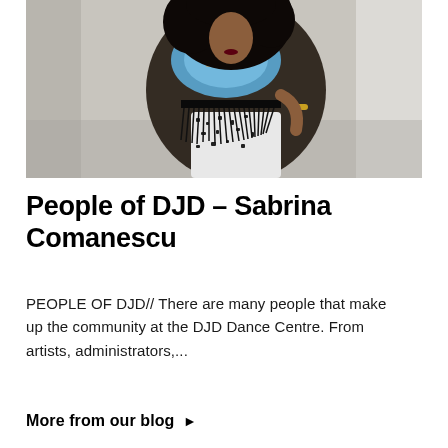[Figure (photo): Fashion photo of Sabrina Comanescu, a woman with large curly hair wearing a black sleeveless top with fringe skirt, a colorful blue patterned scarf, and black-and-white patterned pants, posed in a studio setting.]
People of DJD – Sabrina Comanescu
PEOPLE OF DJD// There are many people that make up the community at the DJD Dance Centre. From artists, administrators,...
More from our blog ▶